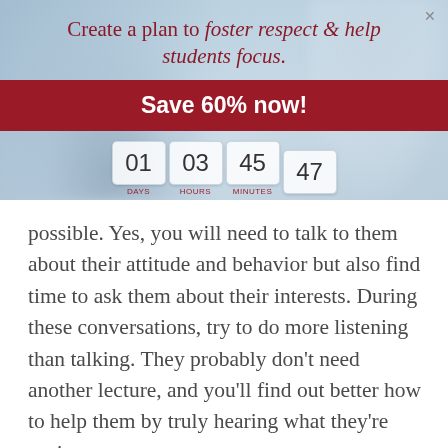[Figure (infographic): Promotional banner with blurred classroom background image showing students and a teacher. Contains headline text, a red CTA button, and a countdown timer.]
Create a plan to foster respect & help students focus.
Save 60% now!
01  03  45  47 — DAYS, HOURS, MINUTES, SECONDS countdown
possible. Yes, you will need to talk to them about their attitude and behavior but also find time to ask them about their interests. During these conversations, try to do more listening than talking. They probably don't need another lecture, and you'll find out better how to help them by truly hearing what they're saying.